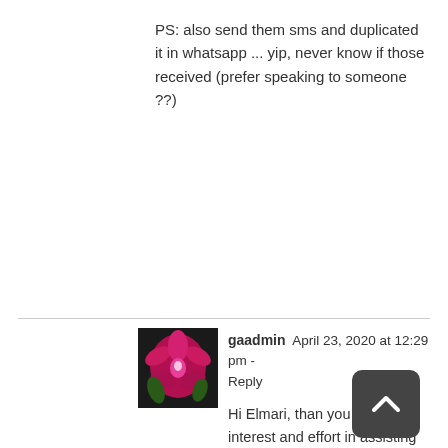PS: also send them sms and duplicated it in whatsapp ... yip, never know if those received (prefer speaking to someone ??)
gaadmin  April 23, 2020 at 12:29 pm - Reply

Hi Elmari, than you for your interest and effort in assisting people with your water meter experiences. I hope that the City is recording the faults on their side and improving the system so that there are less issues with the installation of new meters.